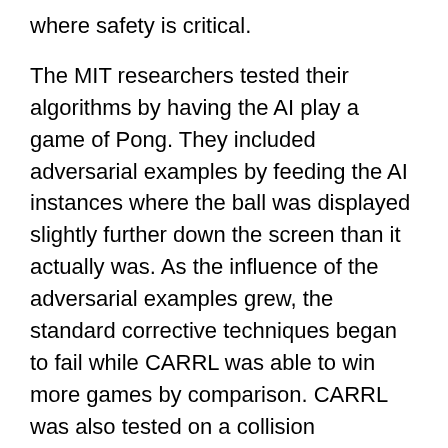where safety is critical.
The MIT researchers tested their algorithms by having the AI play a game of Pong. They included adversarial examples by feeding the AI instances where the ball was displayed slightly further down the screen than it actually was. As the influence of the adversarial examples grew, the standard corrective techniques began to fail while CARRL was able to win more games by comparison. CARRL was also tested on a collision avoidance task. The task unfolded in a virtual environment where two different agents tried to switch positions without bumping into each other. The research team altered the first agent's perception of the second agent and CARRL was able to successfully steer the first agent around the other agent, even in conditions of high uncertainty, although there did come a point where CARRL became too cautious and ended up avoiding its destination altogether.